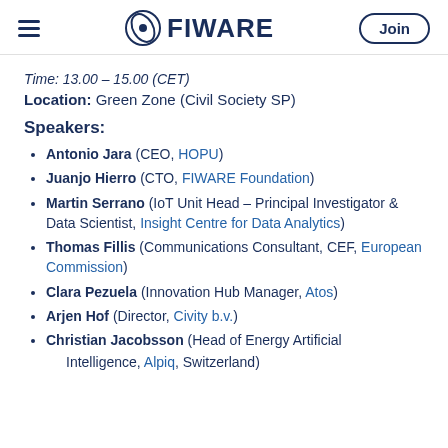FIWARE — Join
Time: 13.00 – 15.00 (CET)
Location: Green Zone (Civil Society SP)
Speakers:
Antonio Jara (CEO, HOPU)
Juanjo Hierro (CTO, FIWARE Foundation)
Martin Serrano (IoT Unit Head – Principal Investigator & Data Scientist, Insight Centre for Data Analytics)
Thomas Fillis (Communications Consultant, CEF, European Commission)
Clara Pezuela (Innovation Hub Manager, Atos)
Arjen Hof (Director, Civity b.v.)
Christian Jacobsson (Head of Energy Artificial Intelligence, Alpiq, Switzerland)